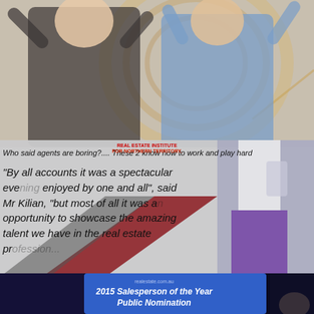[Figure (photo): Two people (a woman in black and a man in a blue blazer) celebrating excitedly in front of a decorative circular artwork background.]
Who said agents are boring?.... These 2 know how to work and play hard
[Figure (photo): REAL ESTATE INSTITUTE FOR NORTHERN TERRITORY logo overlay with diagonal geometric shapes in red/grey. Quote text overlaid: 'By all accounts it was a spectacular evening enjoyed by one and all', said Mr Kilian, 'but most of all it was an opportunity to showcase the amazing talent we have in the real estate profession...' with a person in purple trousers visible at right.]
[Figure (photo): Bottom section showing a presentation screen reading '2015 Salesperson of the Year Public Nomination' with realestate.com.au branding, with dark curtains and a face at bottom right.]